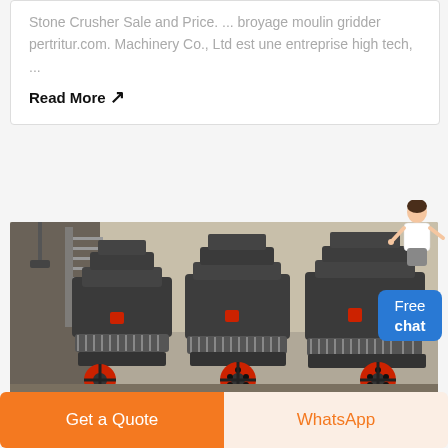Stone Crusher Sale and Price. ... broyage moulin gridder pertritur.com. Machinery Co., Ltd est une entreprise high tech, ...
Read More ↗
[Figure (photo): Industrial stone crusher machinery with red bases/wheels in a factory setting. Three large cone crusher units visible.]
Get a Quote
WhatsApp